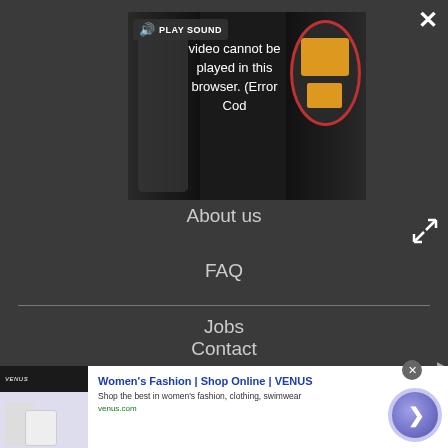[Figure (screenshot): Video player showing error message: 'Video cannot be played in this browser. (Error Cod' with PLAY SOUND button and speaker icon, partially showing a person on left and a robot graphic on right, on black background]
About us
FAQ
Jobs
Contact
Archives
[Figure (screenshot): Advertisement banner: Women's Fashion | Shop Online | VENUS - Shop the best in women's fashion, clothing, swimwear - venus.com, with close button and arrow CTA button]